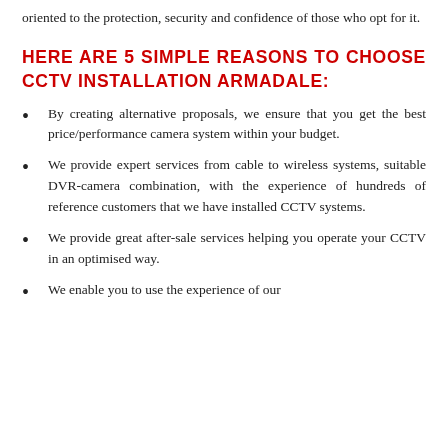oriented to the protection, security and confidence of those who opt for it.
HERE ARE 5 SIMPLE REASONS TO CHOOSE CCTV INSTALLATION ARMADALE:
By creating alternative proposals, we ensure that you get the best price/performance camera system within your budget.
We provide expert services from cable to wireless systems, suitable DVR-camera combination, with the experience of hundreds of reference customers that we have installed CCTV systems.
We provide great after-sale services helping you operate your CCTV in an optimised way.
We enable you to use the experience of our